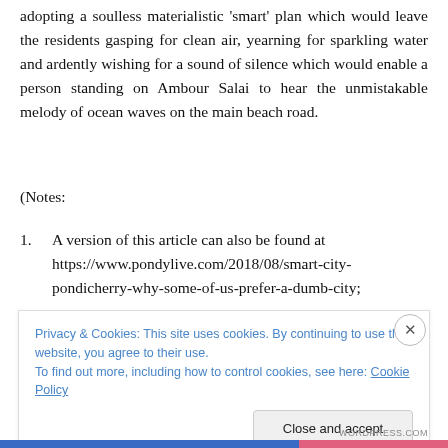adopting a soulless materialistic 'smart' plan which would leave the residents gasping for clean air, yearning for sparkling water and ardently wishing for a sound of silence which would enable a person standing on Ambour Salai to hear the unmistakable melody of ocean waves on the main beach road.
(Notes:
1. A version of this article can also be found at https://www.pondylive.com/2018/08/smart-city-pondicherry-why-some-of-us-prefer-a-dumb-city;
Privacy & Cookies: This site uses cookies. By continuing to use this website, you agree to their use.
To find out more, including how to control cookies, see here: Cookie Policy
Close and accept